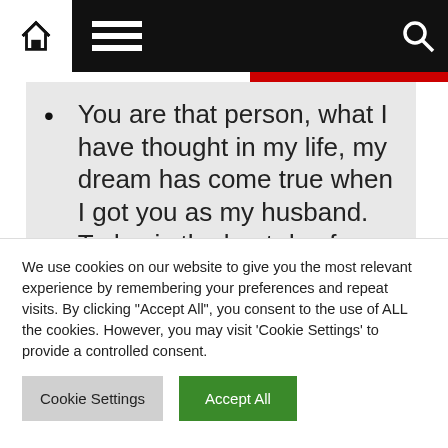[Figure (screenshot): Website navigation bar with home icon, hamburger menu icon on black background, and search icon on the right]
You are that person, what I have thought in my life, my dream has come true when I got you as my husband. Today is the best day for me because it's your birthday, Happy Birthday to you.
We use cookies on our website to give you the most relevant experience by remembering your preferences and repeat visits. By clicking "Accept All", you consent to the use of ALL the cookies. However, you may visit 'Cookie Settings' to provide a controlled consent.
Cookie Settings   Accept All